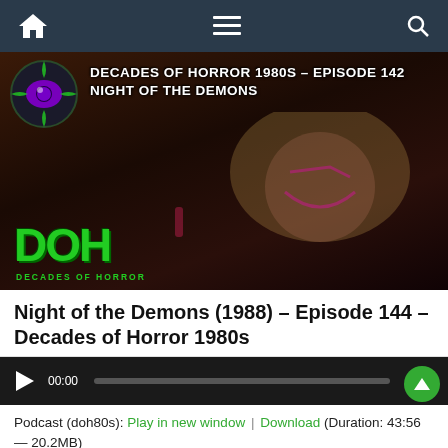Navigation bar with home, menu, and search icons
[Figure (screenshot): Podcast episode thumbnail showing a woman with demon face paint holding lipstick, with 'DOH Decades of Horror' green logo in the bottom left and episode text overlay reading 'DECADES OF HORROR 1980S - EPISODE 142 NIGHT OF THE DEMONS'. Eye logo in top left corner.]
Night of the Demons (1988) – Episode 144 – Decades of Horror 1980s
[Figure (screenshot): Audio player with play button, time display 00:00, progress bar, and end time 00:00]
Podcast (doh80s): Play in new window | Download (Duration: 43:56 — 20.2MB)